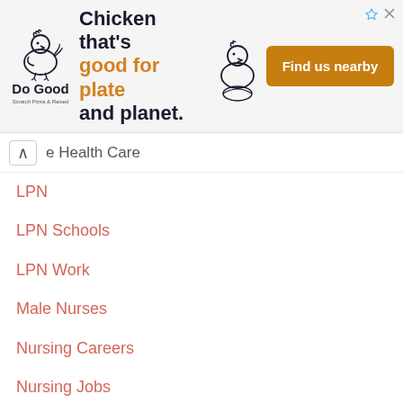[Figure (illustration): Do Good chicken restaurant ad banner with logo, headline 'Chicken that's good for plate and planet.' and 'Find us nearby' button]
e Health Care
LPN
LPN Schools
LPN Work
Male Nurses
Nursing Careers
Nursing Jobs
Nursing scholarships
Online Nursing Schools
Paid education
Prerequisites
Schools And Programs